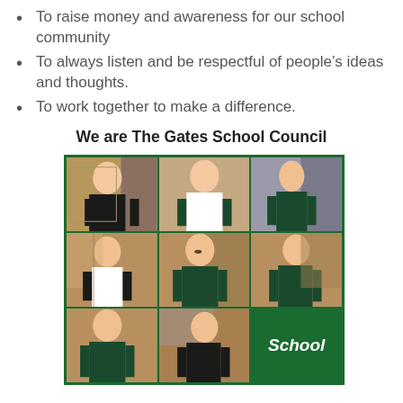To raise money and awareness for our school community
To always listen and be respectful of people's ideas and thoughts.
To work together to make a difference.
We are The Gates School Council
[Figure (photo): 3x3 grid of school children photos with green border, bottom-right cell shows green box with text 'School']